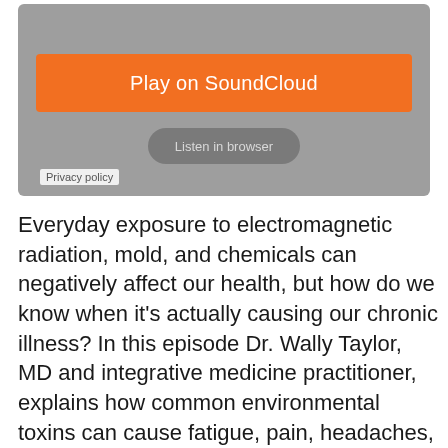[Figure (screenshot): SoundCloud embedded player widget showing a 'Play on SoundCloud' orange button and a 'Listen in browser' grey button, with a 'Privacy policy' label at the bottom left.]
Everyday exposure to electromagnetic radiation, mold, and chemicals can negatively affect our health, but how do we know when it's actually causing our chronic illness? In this episode Dr. Wally Taylor, MD and integrative medicine practitioner, explains how common environmental toxins can cause fatigue, pain, headaches, fibromyalgia and even mental illness. He also offers critical advice for treatment and diagnosis.